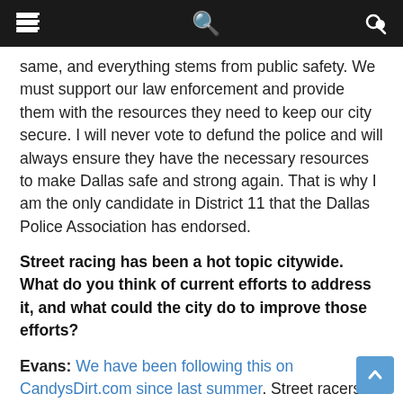Navigation bar with hamburger menu and search icon
same, and everything stems from public safety. We must support our law enforcement and provide them with the resources they need to keep our city secure. I will never vote to defund the police and will always ensure they have the necessary resources to make Dallas safe and strong again. That is why I am the only candidate in District 11 that the Dallas Police Association has endorsed.
Street racing has been a hot topic citywide. What do you think of current efforts to address it, and what could the city do to improve those efforts?
Evans: We have been following this on CandysDirt.com since last summer. Street racers come from all backgrounds, age & ethnic groups, and income levels. Give them a stadium to race (as some have suggested), they don't follow the rules. They seem to enjoy the thrill